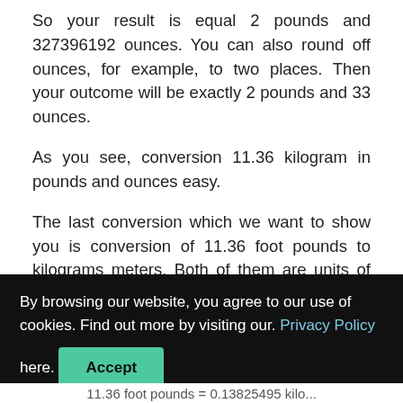So your result is equal 2 pounds and 327396192 ounces. You can also round off ounces, for example, to two places. Then your outcome will be exactly 2 pounds and 33 ounces.
As you see, conversion 11.36 kilogram in pounds and ounces easy.
The last conversion which we want to show you is conversion of 11.36 foot pounds to kilograms meters. Both of them are units of work.
By browsing our website, you agree to our use of cookies. Find out more by visiting our. Privacy Policy here. Accept
11.36 foot pounds = 0.13825495 kilo...